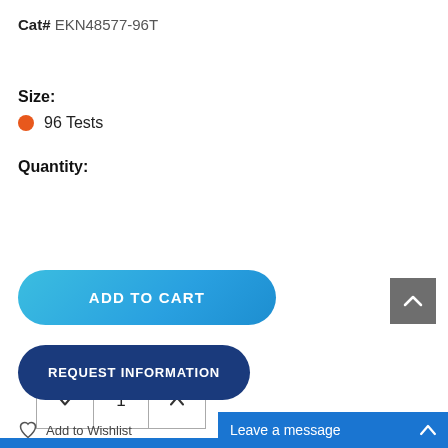Cat# EKN48577-96T
Size:
96 Tests
Quantity:
1
ADD TO CART
REQUEST INFORMATION
Add to Wishlist
Leave a message